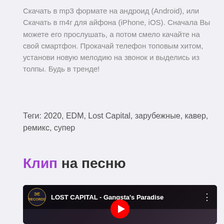Скачать в mp3 формате на андроид (Android), или Скачать в m4r для айфона (iPhone, iOS). Сначала Вы можете его прослушать, а потом смело качайте на свой смартфон. Прокачай телефон топовым хитом, установи новую мелодию на звонок и выделись из толпы. Будь в тренде!
Теги: 2020, EDM, Lost Capital, зарубежные, кавер, ремикс, супер
Клип на песню
[Figure (screenshot): YouTube video thumbnail for LOST CAPITAL - Gangsta's Paradise with red play button and Effective Records logo]